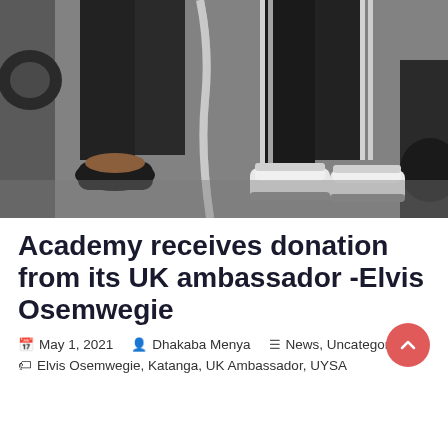[Figure (photo): Photo showing legs and feet of two people standing on pavement near cars. One person wearing black slide sandals and dark pants, the other wearing white Adidas sneakers and black track pants with white stripes. A white painted line on the asphalt is visible between them.]
Academy receives donation from its UK ambassador -Elvis Osemwegie
May 1, 2021   Dhakaba Menya   News, Uncategorized   Elvis Osemwegie, Katanga, UK Ambassador, UYSA